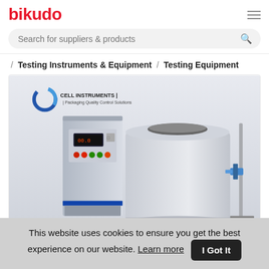bikudo
Search for suppliers & products
/ Testing Instruments & Equipment / Testing Equipment
[Figure (photo): Product image showing a Cell Instruments Packaging Quality Control Solutions testing machine — a box-shaped control unit with display and colored indicator buttons, next to a large cylindrical chamber with a lid, and a vertical stand with a clamp/sensor attachment. White/light grey background.]
This website uses cookies to ensure you get the best experience on our website. Learn more | I Got It